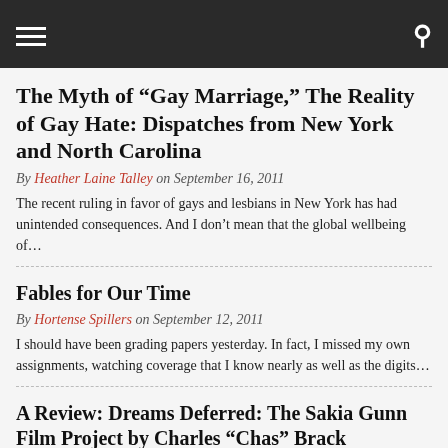The Myth of “Gay Marriage,” The Reality of Gay Hate: Dispatches from New York and North Carolina
By Heather Laine Talley on September 16, 2011
The recent ruling in favor of gays and lesbians in New York has had unintended consequences. And I don’t mean that the global wellbeing of…
Fables for Our Time
By Hortense Spillers on September 12, 2011
I should have been grading papers yesterday. In fact, I missed my own assignments, watching coverage that I know nearly as well as the digits…
A Review: Dreams Deferred: The Sakia Gunn Film Project by Charles “Chas” Brack